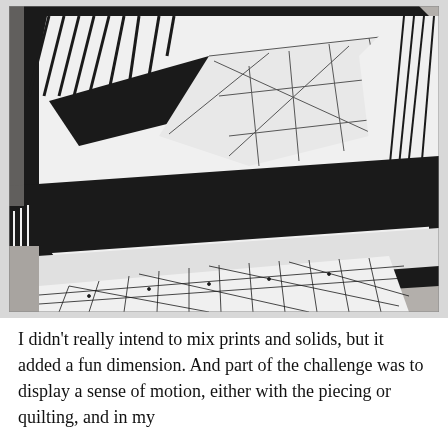[Figure (photo): Close-up photograph of a black and white geometric quilt laid on a stone/concrete surface. The quilt features various black and white printed fabrics with geometric patterns including stripes, dots, grids, and triangular/angular designs arranged in a modern art quilt style.]
I didn't really intend to mix prints and solids, but it added a fun dimension. And part of the challenge was to display a sense of motion, either with the piecing or quilting, and in my